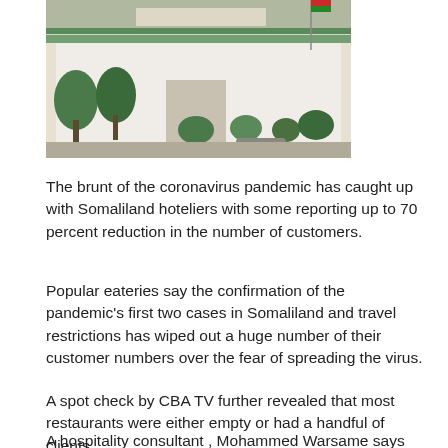[Figure (photo): Exterior of a building with white walls, green trim, trees and shrubs, flags visible, parking area in front]
The brunt of the coronavirus pandemic has caught up with Somaliland hoteliers with some reporting up to 70 percent reduction in the number of customers.
Popular eateries say the confirmation of the pandemic's first two cases in Somaliland and travel restrictions has wiped out a huge number of their customer numbers over the fear of spreading the virus.
A spot check by CBA TV further revealed that most restaurants were either empty or had a handful of clients.
A hospitality consultant , Mohammed Warsame says the hotels have period of learning the essence of using modern